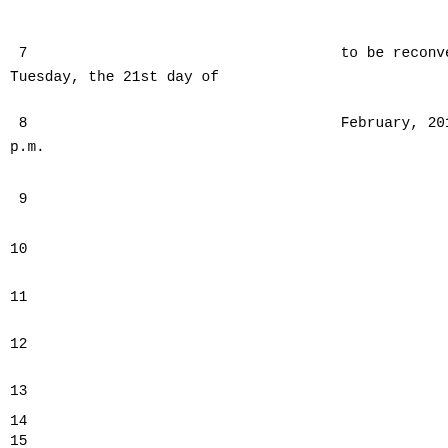7                                    to be reconvened on
Tuesday, the 21st day of
8                                    February, 2012, at 2.15
p.m.
9
10
11
12
13
14
15